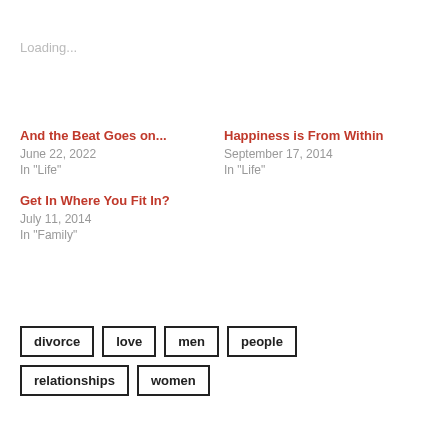Loading...
And the Beat Goes on...
June 22, 2022
In "Life"
Happiness is From Within
September 17, 2014
In "Life"
Get In Where You Fit In?
July 11, 2014
In "Family"
divorce
love
men
people
relationships
women